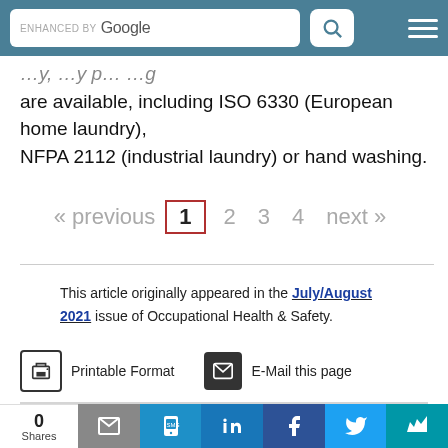ENHANCED BY Google [search bar] [menu]
are available, including ISO 6330 (European home laundry), NFPA 2112 (industrial laundry) or hand washing.
« previous  1  2  3  4  next »
This article originally appeared in the July/August 2021 issue of Occupational Health & Safety.
Printable Format   E-Mail this page
0 Shares